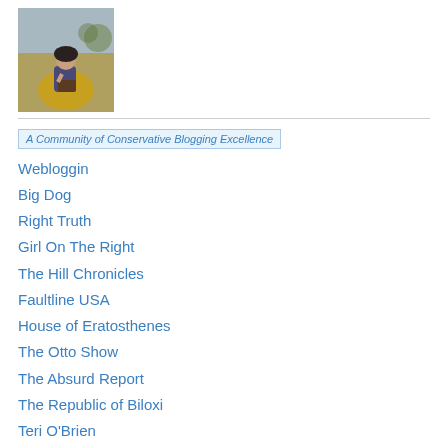[Figure (illustration): Painting of a woman in period dress sitting outdoors reading a book, wearing a yellow skirt and dark top with a bonnet]
[Figure (other): Badge image with alt text 'A Community of Conservative Blogging Excellence']
Webloggin
Big Dog
Right Truth
Girl On The Right
The Hill Chronicles
Faultline USA
House of Eratosthenes
The Otto Show
The Absurd Report
The Republic of Biloxi
Teri O'Brien